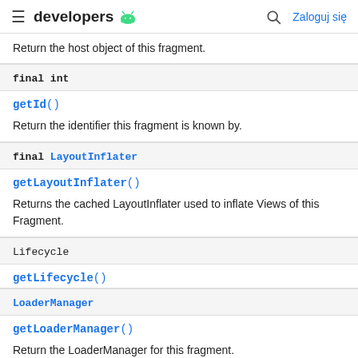developers [android logo] [search] Zaloguj się
Return the host object of this fragment.
final int
getId()
Return the identifier this fragment is known by.
final LayoutInflater
getLayoutInflater()
Returns the cached LayoutInflater used to inflate Views of this Fragment.
Lifecycle
getLifecycle()
LoaderManager
getLoaderManager()
Return the LoaderManager for this fragment.